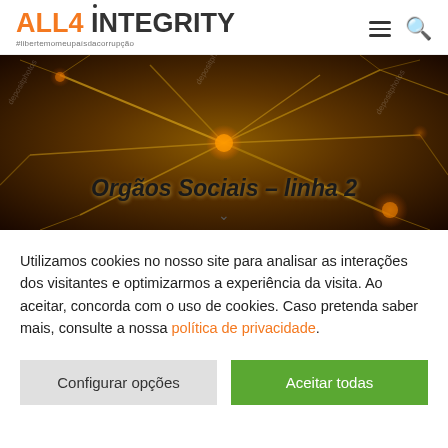[Figure (logo): ALL4INTEGRITY logo with orange ALL4 and dark INTEGRITY text, with dot above I, and tagline #libertemomeupaísdacorrupção]
[Figure (photo): Close-up photo of neural network or neuron cells with golden/orange color on dark background, with depositphotos watermark]
Orgãos Sociais – linha 2
Utilizamos cookies no nosso site para analisar as interações dos visitantes e optimizarmos a experiência da visita. Ao aceitar, concorda com o uso de cookies. Caso pretenda saber mais, consulte a nossa política de privacidade.
Configurar opções
Aceitar todas